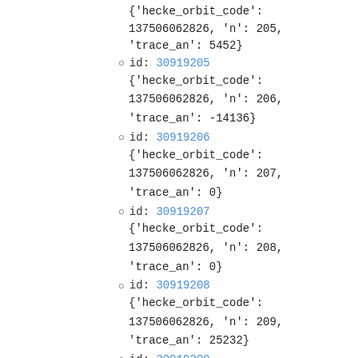{'hecke_orbit_code': 137506062826, 'n': 205, 'trace_an': 5452}
id: 30919205
{'hecke_orbit_code': 137506062826, 'n': 206, 'trace_an': -14136}
id: 30919206
{'hecke_orbit_code': 137506062826, 'n': 207, 'trace_an': 0}
id: 30919207
{'hecke_orbit_code': 137506062826, 'n': 208, 'trace_an': 0}
id: 30919208
{'hecke_orbit_code': 137506062826, 'n': 209, 'trace_an': 25232}
id: 30919209